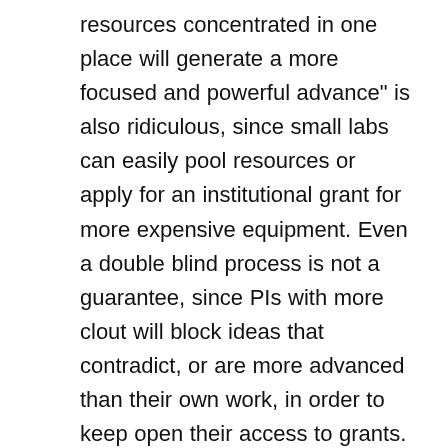resources concentrated in one place will generate a more focused and powerful advance" is also ridiculous, since small labs can easily pool resources or apply for an institutional grant for more expensive equipment. Even a double blind process is not a guarantee, since PIs with more clout will block ideas that contradict, or are more advanced than their own work, in order to keep open their access to grants. To mitigate that, I would suggest the review panel to include mostly researchers from overseas, from several other countries, who are outside of the local circles of interest, and do not care about reprisals from US reviewers. I am sure that for a